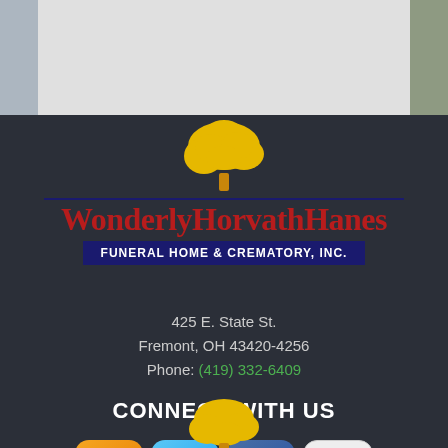[Figure (logo): Wonderly Horvath Hanes Funeral Home & Crematory, Inc. logo with yellow tree, red script name, and blue banner subtitle]
425 E. State St.
Fremont, OH 43420-4256
Phone: (419) 332-6409
CONNECT WITH US
[Figure (infographic): Social media icons: RSS feed (orange), Twitter (blue), Facebook (blue), YouTube (grey/white)]
[Figure (illustration): Partial yellow tree illustration at bottom of page]